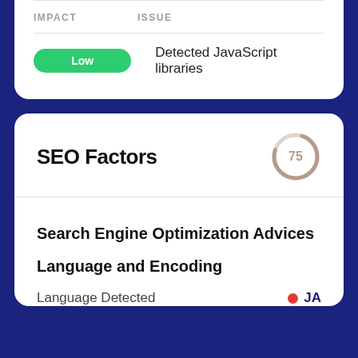| IMPACT | ISSUE |
| --- | --- |
| Low | Detected JavaScript libraries |
SEO Factors
[Figure (other): Circular score gauge showing 75]
Search Engine Optimization Advices
Language and Encoding
Language Detected